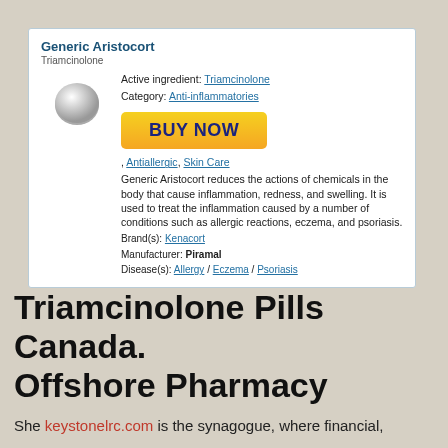[Figure (infographic): Generic Aristocort drug info card with pill image, active ingredient, category, buy now button, and product description]
Triamcinolone Pills Canada. Offshore Pharmacy
She keystonelrc.com is the synagogue, where financial,